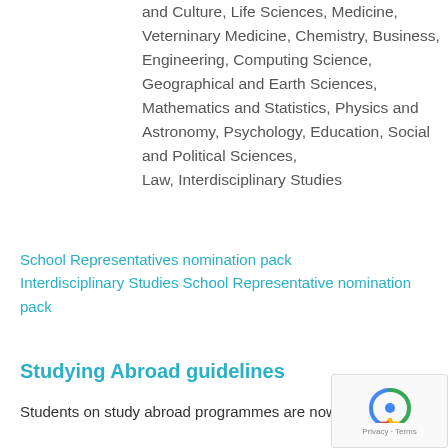and Culture, Life Sciences, Medicine, Veterninary Medicine, Chemistry, Business, Engineering, Computing Science, Geographical and Earth Sciences, Mathematics and Statistics, Physics and Astronomy, Psychology, Education, Social and Political Sciences, Law, Interdisciplinary Studies
School Representatives nomination pack
Interdisciplinary Studies School Representative nomination pack
Studying Abroad guidelines
Students on study abroad programmes are now able